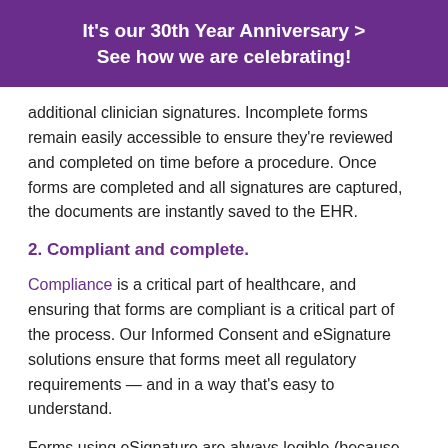It's our 30th Year Anniversary > See how we are celebrating!
additional clinician signatures. Incomplete forms remain easily accessible to ensure they're reviewed and completed on time before a procedure. Once forms are completed and all signatures are captured, the documents are instantly saved to the EHR.
2. Compliant and complete.
Compliance is a critical part of healthcare, and ensuring that forms are compliant is a critical part of the process. Our Informed Consent and eSignature solutions ensure that forms meet all regulatory requirements — and in a way that's easy to understand.
Forms using eSignature are always legible (because they require no handwritten information), collect all